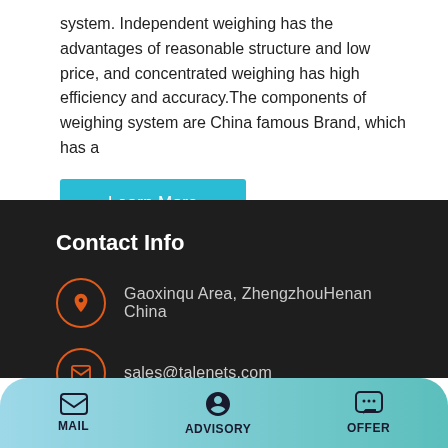system. Independent weighing has the advantages of reasonable structure and low price, and concentrated weighing has high efficiency and accuracy.The components of weighing system are China famous Brand, which has a
Learn More
Contact Info
Gaoxinqu Area, ZhengzhouHenan China
sales@talenets.com
0086-371-60922096
MAIL  ADVISORY  OFFER